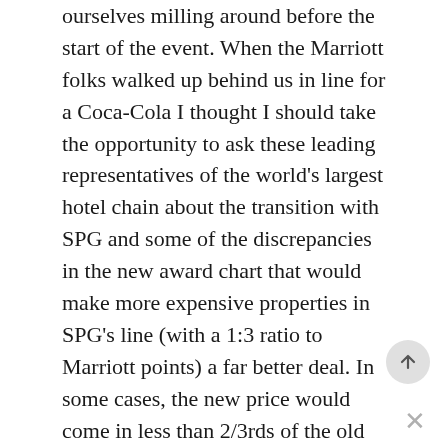ourselves milling around before the start of the event. When the Marriott folks walked up behind us in line for a Coca-Cola I thought I should take the opportunity to ask these leading representatives of the world's largest hotel chain about the transition with SPG and some of the discrepancies in the new award chart that would make more expensive properties in SPG's line (with a 1:3 ratio to Marriott points) a far better deal. In some cases, the new price would come in less than 2/3rds of the old price. A 35,000 SPG point redemption should cost 105,000 apples to apples, but on the new chart, there is a period where that room would only cost 60,000 [unnamed Marriott loyalty program] points. Even peak prices of 100,000 would technically bring the price down, though by less than 2,000 SPG points by comparison.